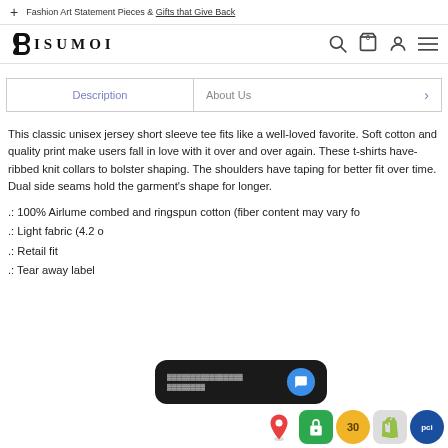+ Fashion Art Statement Pieces & Gifts that Give Back
[Figure (logo): BISUMOI brand logo with stylized B symbol, plus navigation icons: search, cart (0), account, menu]
Description | About Us >
This classic unisex jersey short sleeve tee fits like a well-loved favorite. Soft cotton and quality print make users fall in love with it over and over again. These t-shirts have-ribbed knit collars to bolster shaping. The shoulders have taping for better fit over time. Dual side seams hold the garment's shape for longer.
.: 100% Airlume combed and ringspun cotton (fiber content may vary fo
.: Light fabric (4.2 o
.: Retail fit
.: Tear away label